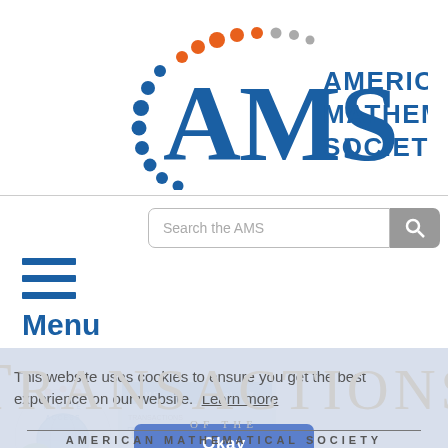[Figure (logo): American Mathematical Society logo with AMS letters and colorful dot arc, alongside text 'AMERICAN MATHEMATICAL SOCIETY']
[Figure (screenshot): Search bar with placeholder 'Search the AMS' and a grey search button with magnifying glass icon]
[Figure (infographic): Hamburger menu icon (three horizontal blue lines)]
Menu
[Figure (photo): Remote Access circular badge with globe icon and colorful dots]
[Figure (photo): Transactions of the American Mathematical Society journal cover (blue)]
[Figure (logo): Open Access green logo]
This website uses cookies to ensure you get the best experience on our website. Learn more
Okay
TRANSACTIONS OF THE AMERICAN MATHEMATICAL SOCIETY